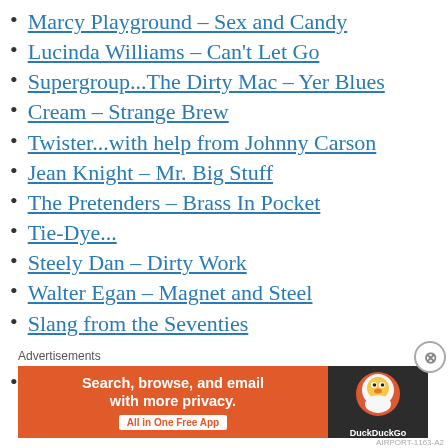Marcy Playground – Sex and Candy
Lucinda Williams – Can't Let Go
Supergroup...The Dirty Mac – Yer Blues
Cream – Strange Brew
Twister...with help from Johnny Carson
Jean Knight – Mr. Big Stuff
The Pretenders – Brass In Pocket
Tie-Dye...
Steely Dan – Dirty Work
Walter Egan – Magnet and Steel
Slang from the Seventies
ZZ Top – I'm Bad, I'm Nationwide
Gordon Lightfoot – Sundown
Advertisements
[Figure (screenshot): DuckDuckGo advertisement banner: orange background with text 'Search, browse, and email with more privacy. All in One Free App' and DuckDuckGo logo on dark background]